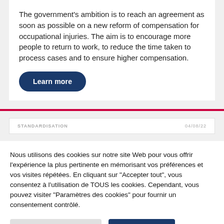The government's ambition is to reach an agreement as soon as possible on a new reform of compensation for occupational injuries. The aim is to encourage more people to return to work, to reduce the time taken to process cases and to ensure higher compensation.
Learn more
STANDARDISATION
Nous utilisons des cookies sur notre site Web pour vous offrir l'expérience la plus pertinente en mémorisant vos préférences et vos visites répétées. En cliquant sur "Accepter tout", vous consentez à l'utilisation de TOUS les cookies. Cependant, vous pouvez visiter "Paramètres des cookies" pour fournir un consentement contrôlé.
Paramètres des cookies
Accepter tout